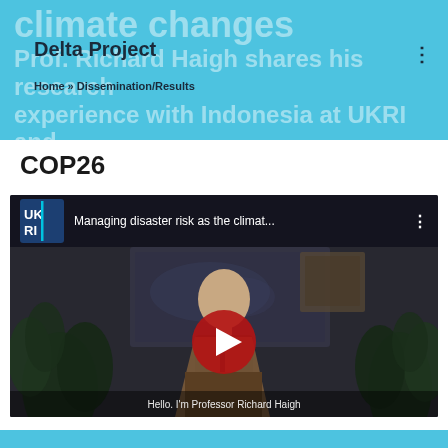climate changes Delta Project Home » Dissemination/Results
Prof. Richard Haigh shares his research experience with Indonesia at UKRI and COP26
[Figure (screenshot): YouTube video embed showing 'Managing disaster risk as the climat...' with UKRI logo, play button, and subtitle 'Hello. I'm Professor Richard Haigh'. Video thumbnail shows a man in a dark turtleneck and brown blazer seated in an office with plants and a world map on the wall.]